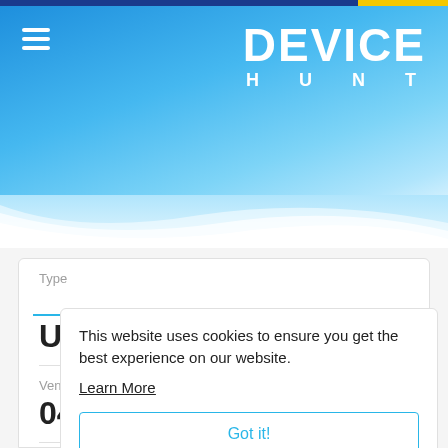[Figure (screenshot): Device Hunt website header with blue gradient background, hamburger menu icon on left, and DEVICE HUNT logo in white on right]
Type
USB
Vendor ID
04A5
Device ID
This website uses cookies to ensure you get the best experience on our website.
Learn More
Got it!